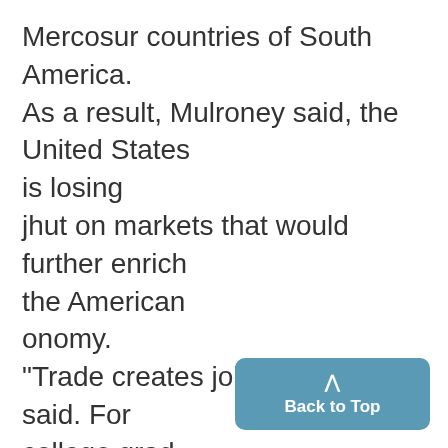Mercosur countries of South America. As a result, Mulroney said, the United States is losing jhut on markets that would further enrich the American onomy. "Trade creates jobs," Mulroney said. For college grad- uates especially, he said he feels it will make a difference in the availability of future opportunities. "America's grad- uates desperately need what comes from international